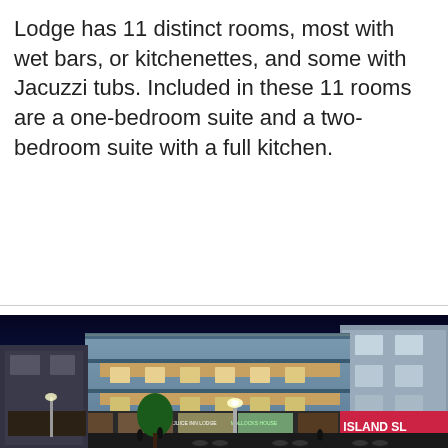Lodge has 11 distinct rooms, most with wet bars, or kitchenettes, and some with Jacuzzi tubs. Included in these 11 rooms are a one-bedroom suite and a two-bedroom suite with a full kitchen.
[Figure (photo): Nighttime street scene showing a multi-story lodge/hotel building with illuminated storefronts below, bicycles parked on the street, trees, and neighboring buildings including one with an 'ISLAND SL' sign. The main building is pale blue with decorative balconies.]